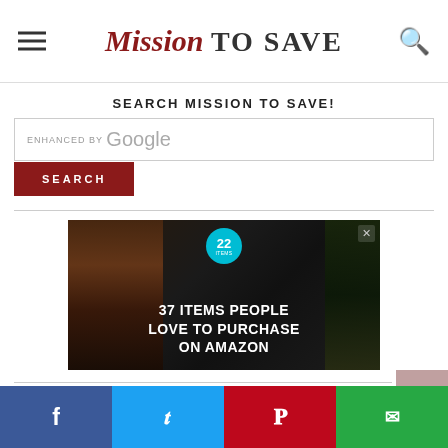Mission TO SAVE
SEARCH MISSION TO SAVE!
ENHANCED BY Google
SEARCH
[Figure (photo): Advertisement banner showing kitchen knives on dark background with text '37 ITEMS PEOPLE LOVE TO PURCHASE ON AMAZON' and a teal badge with number 22]
↑
Social share bar: Facebook, Twitter, Pinterest, Email